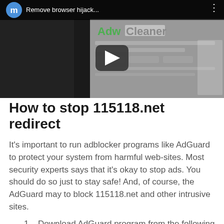[Figure (screenshot): YouTube-style video thumbnail showing 'Remove browser hijack...' title in top bar with avatar letter 'm', AdwCleaner software screenshot in background, and a play button in the center.]
How to stop 115118.net redirect
It's important to run adblocker programs like AdGuard to protect your system from harmful web-sites. Most security experts says that it's okay to stop ads. You should do so just to stay safe! And, of course, the AdGuard may to block 115118.net and other intrusive sites.
Download AdGuard program from the following link.